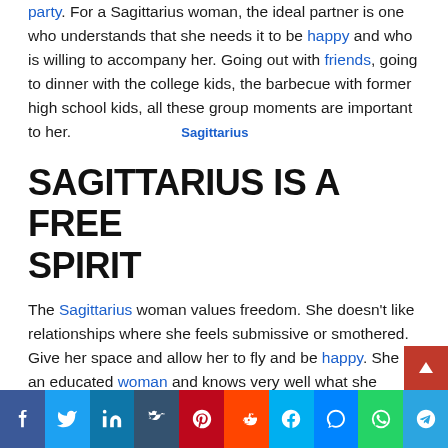party. For a Sagittarius woman, the ideal partner is one who understands that she needs it to be happy and who is willing to accompany her. Going out with friends, going to dinner with the college kids, the barbecue with former high school kids, all these group moments are important to her.    Sagittarius
SAGITTARIUS IS A FREE SPIRIT
The Sagittarius woman values freedom. She doesn't like relationships where she feels submissive or smothered. Give her space and allow her to fly and be happy. She is an educated woman and knows very well what she wants and what she doesn't want.